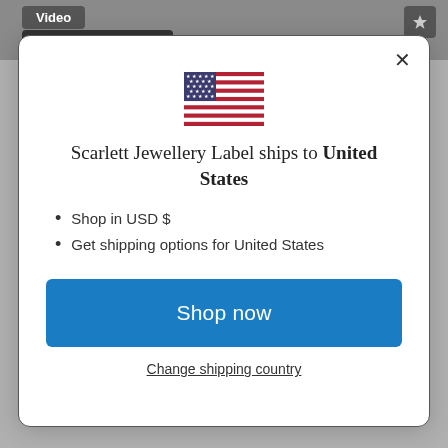[Figure (screenshot): Background screenshot showing a dark toolbar with 'Video' button and 'Scarlett Jewellery Label' label button]
[Figure (illustration): US flag emoji/icon centered in the modal dialog]
Scarlett Jewellery Label ships to United States
Shop in USD $
Get shipping options for United States
Shop now
Change shipping country